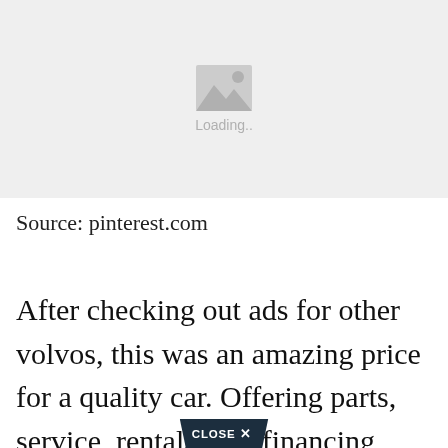[Figure (photo): Image loading placeholder with mountain/photo icon and 'Loading..' text on a light grey background]
Source: pinterest.com
After checking out ads for other volvos, this was an amazing price for a quality car. Offering parts, service, rentals, and financing, near white plains, round peak,